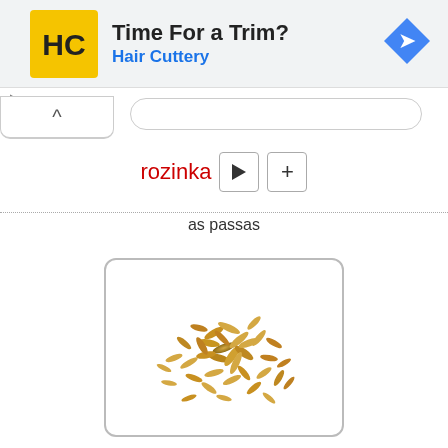[Figure (screenshot): Hair Cuttery advertisement banner with yellow HC logo, title 'Time For a Trim?' and subtitle 'Hair Cuttery' in blue, with a blue navigation arrow icon on the right]
rozinka
as passas
[Figure (photo): A pile of golden/tan grain seeds (raisins or rice grains) scattered on a white background, inside a rounded rectangle border]